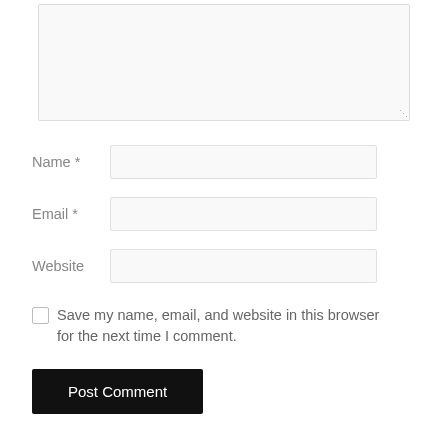[Figure (screenshot): A textarea input box with light gray background, thin border, and resize handle at bottom-right corner.]
Name *
Email *
Website
Save my name, email, and website in this browser for the next time I comment.
Post Comment